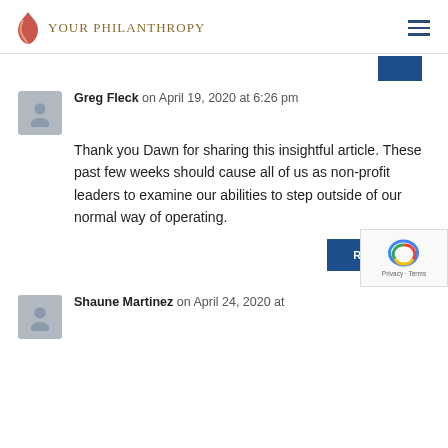Your Philanthropy
Greg Fleck on April 19, 2020 at 6:26 pm
Thank you Dawn for sharing this insightful article. These past few weeks should cause all of us as non-profit leaders to examine our abilities to step outside of our normal way of operating.
REPLY
Shaune Martinez on April 24, 2020 at